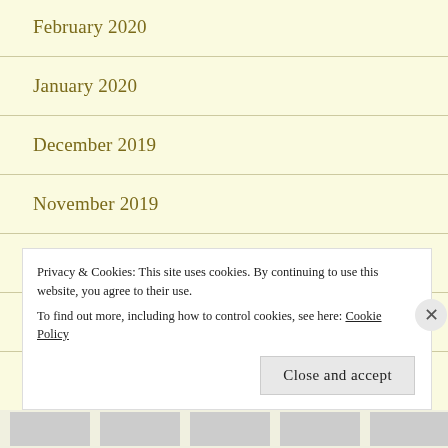February 2020
January 2020
December 2019
November 2019
October 2019
September 2019
Privacy & Cookies: This site uses cookies. By continuing to use this website, you agree to their use.
To find out more, including how to control cookies, see here: Cookie Policy
Close and accept